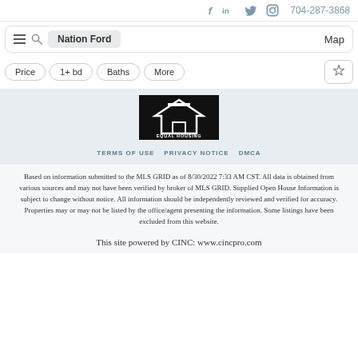f  in  🐦  📷  704-287-3868
☰  🔍  Nation Ford  Map
Price  1+ bd  Baths  More  📌
[Figure (logo): Equal Housing Opportunity logo — black background with house icon and text EQUAL HOUSING OPPORTUNITY]
TERMS OF USE   PRIVACY NOTICE   DMCA
Based on information submitted to the MLS GRID as of 8/30/2022 7:33 AM CST. All data is obtained from various sources and may not have been verified by broker of MLS GRID. Supplied Open House Information is subject to change without notice. All information should be independently reviewed and verified for accuracy. Properties may or may not be listed by the office/agent presenting the information. Some listings have been excluded from this website.
This site powered by CINC: www.cincpro.com